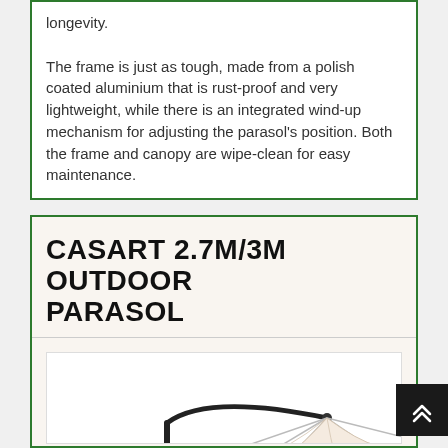longevity.

The frame is just as tough, made from a polish coated aluminium that is rust-proof and very lightweight, while there is an integrated wind-up mechanism for adjusting the parasol's position. Both the frame and canopy are wipe-clean for easy maintenance.
CASART 2.7M/3M OUTDOOR PARASOL
[Figure (photo): A cantilever patio parasol with a beige/cream canopy and dark metal pole and frame, shown from a low angle against a white background.]